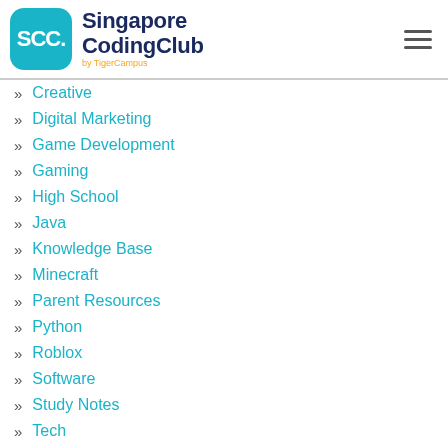Singapore CodingClub by TigerCampus
Creative
Digital Marketing
Game Development
Gaming
High School
Java
Knowledge Base
Minecraft
Parent Resources
Python
Roblox
Software
Study Notes
Tech
Tutoring
Uncategorized